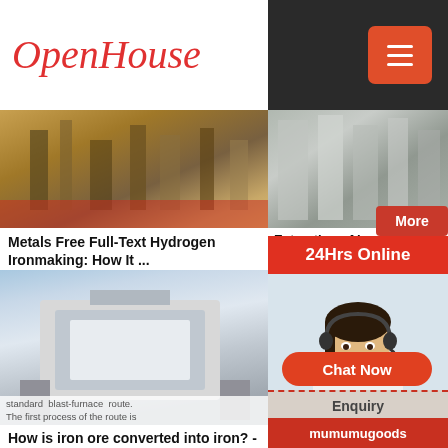OpenHouse
[Figure (photo): Industrial metalworking or iron production facility interior]
Metals Free Full-Text Hydrogen Ironmaking: How It ...
2020-6-3  A new route for making steel from iron ore
[Figure (photo): Stone columns or industrial concrete structure, grey tones]
Extraction of Iron (examples, activities ...
how to extract iron ore, extract
[Figure (photo): Large industrial crushing or processing machine, white and blue, outdoors]
How is iron ore converted into iron? - Answers
standard blast-furnace route. The first process of the route is
[Figure (photo): Blue industrial mining or pelletizing equipment outdoors]
Iron Ore Pe Process: An
More
24Hrs Online
Need questions & suggestion?
Chat Now
Enquiry
mumumugoods